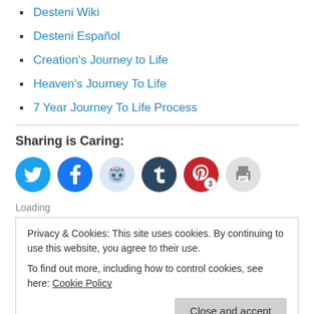Desteni Wiki
Desteni Español
Creation's Journey to Life
Heaven's Journey To Life
7 Year Journey To Life Process
Sharing is Caring:
[Figure (infographic): Social sharing buttons: Twitter (blue), Facebook (blue), Reddit (light blue), Tumblr (dark navy), Pinterest (red, badge 3), Print (grey)]
Loading
Privacy & Cookies: This site uses cookies. By continuing to use this website, you agree to their use.
To find out more, including how to control cookies, see here: Cookie Policy
Close and accept